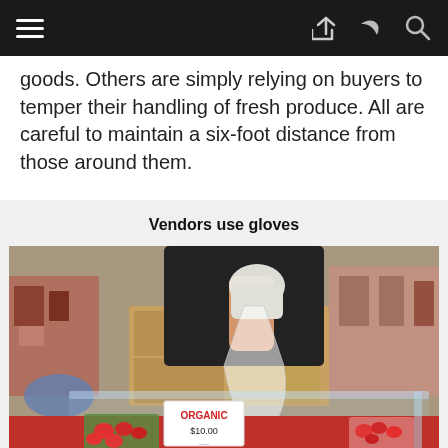[navigation bar with hamburger menu, share icon, search icon]
goods. Others are simply relying on buyers to temper their handling of fresh produce. All are careful to maintain a six-foot distance from those around them.
Vendors use gloves
[Figure (photo): A vendor wearing a black shirt and white latex glove holds a plastic bag over a market stall table with strawberry baskets and an ORGANIC $10.00 sign in the foreground. A plexiglass shield is visible in front of the stall.]